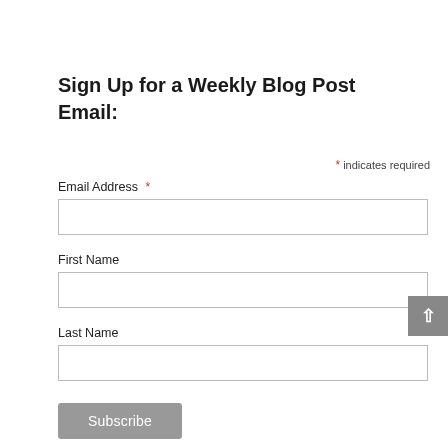Sign Up for a Weekly Blog Post Email:
* indicates required
Email Address *
First Name
Last Name
Subscribe